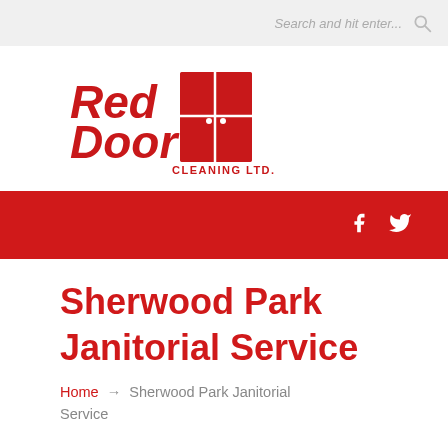Search and hit enter...
[Figure (logo): Red Door Cleaning Ltd. logo with red double door icon and red text]
Sherwood Park Janitorial Service
Home → Sherwood Park Janitorial Service